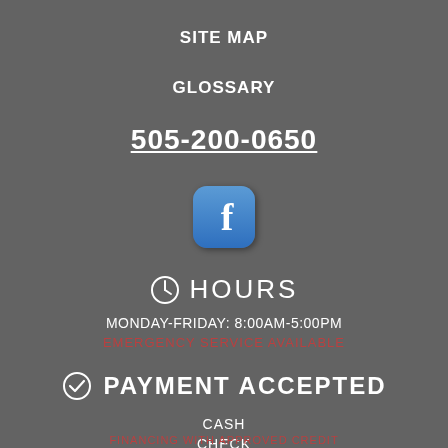SITE MAP
GLOSSARY
505-200-0650
[Figure (logo): Facebook logo icon — blue rounded square with white letter f]
HOURS
MONDAY-FRIDAY: 8:00AM-5:00PM
EMERGENCY SERVICE AVAILABLE
PAYMENT ACCEPTED
CASH
CHECK
FINANCING WITH APPROVED CREDIT